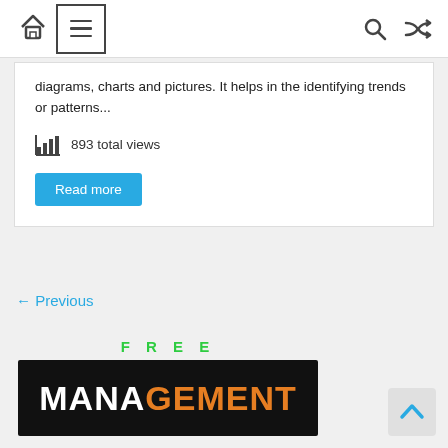Navigation header with home icon, menu icon, search icon, and shuffle icon
diagrams, charts and pictures. It helps in the identifying trends or patterns...
893 total views
Read more
← Previous
FREE
[Figure (logo): Free Management library banner with black background, white MANA and orange GEMENT text]